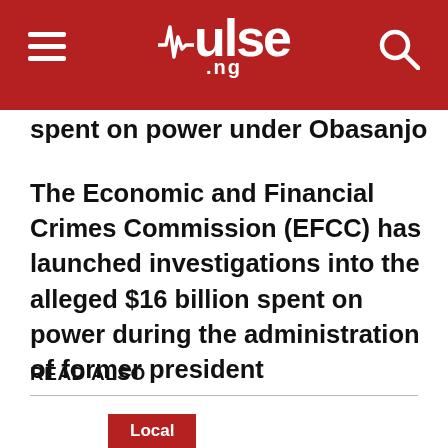pulse.ng
spent on power under Obasanjo
The Economic and Financial Crimes Commission (EFCC) has launched investigations into the alleged $16 billion spent on power during the administration of former president
READ ALSO
Local